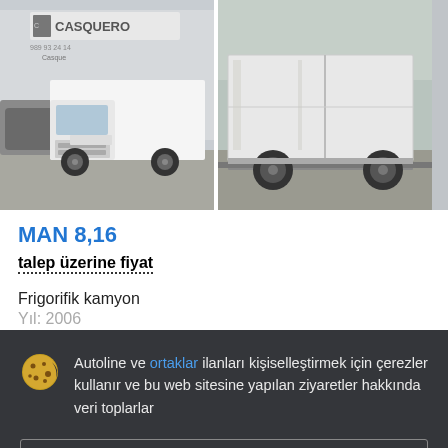[Figure (photo): Two photos of a white MAN 8,16 box truck (frigorifik/refrigerated truck). Left photo shows front-side view at a dealership lot (CASQUERO sign visible). Right photo shows rear-side view of a similar white box truck outdoors.]
MAN 8,16
talep üzerine fiyat
Frigorifik kamyon
Yıl: 2006
Autoline ve ortaklar ilanları kişiselleştirmek için çerezler kullanır ve bu web sitesine yapılan ziyaretler hakkında veri toplarlar
Detaylar
Kabul et ve kapat